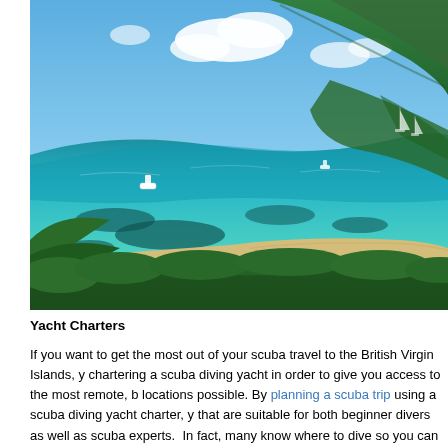[Figure (photo): Aerial view of a tropical Caribbean bay with turquoise and teal water, coral reef formations visible beneath the surface, a sandy beach curving along the shoreline, green forested hills in the background, a small white motorboat on the water, and partly cloudy blue sky above.]
Yacht Charters
If you want to get the most out of your scuba travel to the British Virgin Islands, y... chartering a scuba diving yacht in order to give you access to the most remote, b... locations possible. By planning a scuba trip using a scuba diving yacht charter, y... that are suitable for both beginner divers as well as scuba experts.  In fact, many... know where to dive so you can have the best experience possible, but they also...